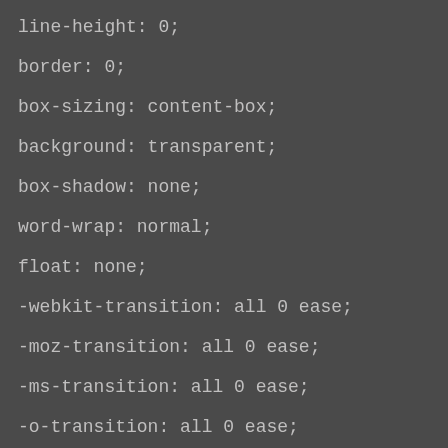line-height: 0;
border: 0;
box-sizing: content-box;
background: transparent;
box-shadow: none;
word-wrap: normal;
float: none;
-webkit-transition: all 0 ease;
-moz-transition: all 0 ease;
-ms-transition: all 0 ease;
-o-transition: all 0 ease;
transition: all 0 ease;
}
#stp-551d62f411a30 {